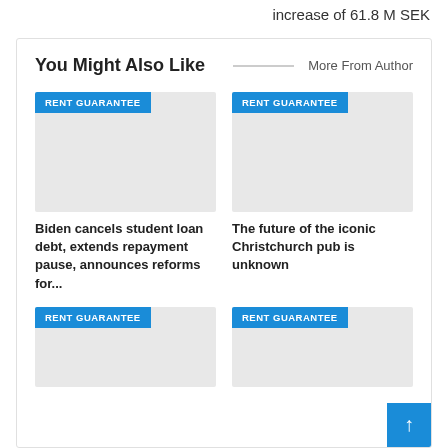increase of 61.8 M SEK
You Might Also Like
More From Author
[Figure (illustration): Article card thumbnail with RENT GUARANTEE badge, light gray placeholder image]
Biden cancels student loan debt, extends repayment pause, announces reforms for...
[Figure (illustration): Article card thumbnail with RENT GUARANTEE badge, light gray placeholder image]
The future of the iconic Christchurch pub is unknown
[Figure (illustration): Article card thumbnail with RENT GUARANTEE badge, light gray placeholder image]
[Figure (illustration): Article card thumbnail with RENT GUARANTEE badge, light gray placeholder image]